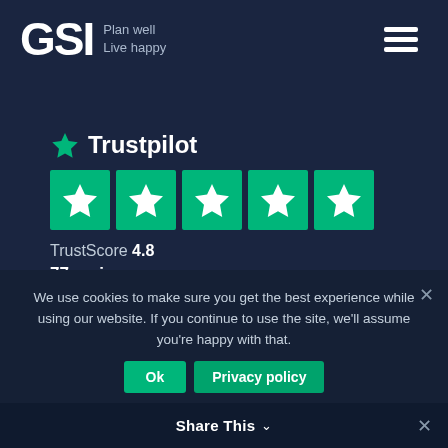[Figure (logo): GSI logo with tagline 'Plan well Live happy' and hamburger menu icon]
[Figure (infographic): Trustpilot rating widget showing 4.8 TrustScore with 5 green star boxes and 77 reviews]
TrustScore 4.8
77 reviews
We use cookies to make sure you get the best experience while using our website. If you continue to use the site, we'll assume you're happy with that.
Share This